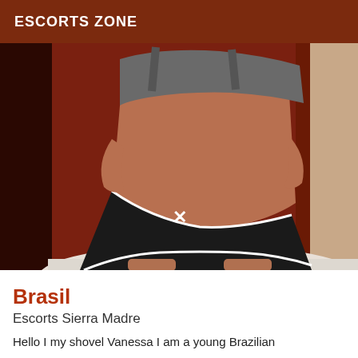ESCORTS ZONE
[Figure (photo): A young Brazilian woman in a gray sports bra and black athletic shorts, photographed in a bathroom/room setting with dark reddish-brown background.]
Brasil
Escorts Sierra Madre
Hello I my shovel Vanessa I am a young Brazilian